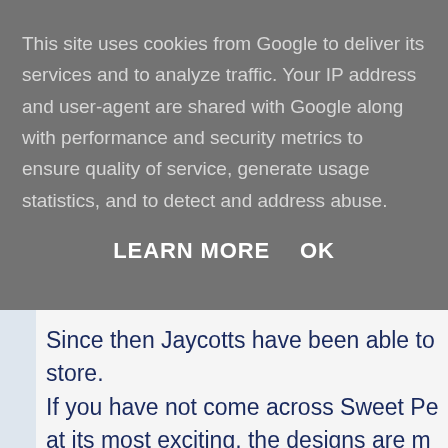This site uses cookies from Google to deliver its services and to analyze traffic. Your IP address and user-agent are shared with Google along with performance and security metrics to ensure quality of service, generate usage statistics, and to detect and address abuse.
LEARN MORE    OK
Since then Jaycotts have been able to store.
If you have not come across Sweet Pe at its most exciting, the designs are m designs they are!